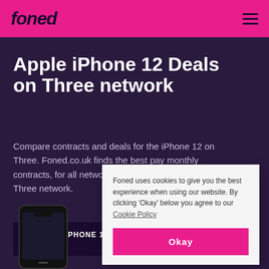foned
Apple iPhone 12 Deals on Three network
Compare contracts and deals for the iPhone 12 on Three. Foned.co.uk finds the best pay monthly contracts, for all networks including the popular the Three network.
VIEW ALL IPHONE 12 DEALS
[Figure (photo): Black iPhone 12 device shown at bottom of page]
Foned uses cookies to give you the best experience when using our website. By clicking 'Okay' below you agree to our Cookie Policy
Okay